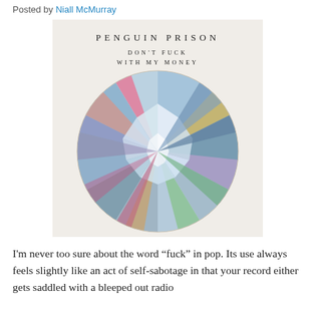Posted by Niall McMurray
[Figure (illustration): Album cover art for Penguin Prison 'Don't Fuck With My Money' — a colorful geometric diamond/gem shape made of triangular facets in blues, pinks, greens, yellows on a light cream background. Band name 'PENGUIN PRISON' and title 'DON'T FUCK WITH MY MONEY' written in spaced serif capitals above the gem.]
I'm never too sure about the word “fuck” in pop. Its use always feels slightly like an act of self-sabotage in that your record either gets saddled with a bleeped out radio edit or the release becomes deliberately controversial. M ore on this